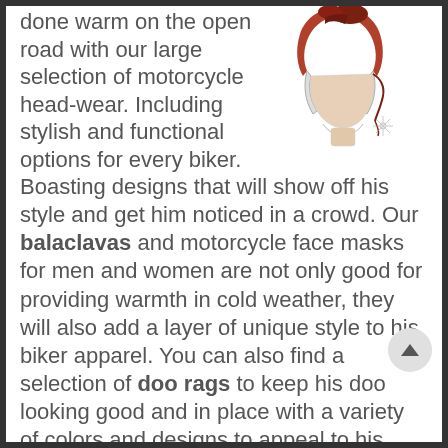done warm on the open road with our large selection of motorcycle head-wear. Including stylish and functional options for every biker. Boasting designs that will show off his style and get him noticed in a crowd. Our balaclavas and motorcycle face masks for men and women are not only good for providing warmth in cold weather, they will also add a layer of unique style to his biker apparel. You can also find a selection of doo rags to keep his doo looking good and in place with a variety of colors and designs to appeal to his tastes. These are also Quality Motorcycle Gear that dad will love such as this
[Figure (illustration): Line drawing of a person wearing a motorcycle head covering, viewed from the side/profile, with decorative elements]
Our Flaming Crossbones Doo Rag Flydanna is a